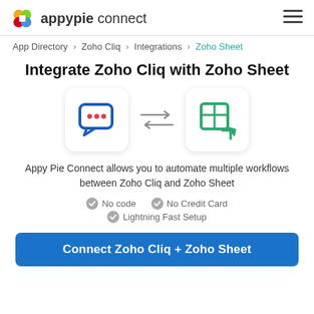appypie connect
App Directory > Zoho Cliq > Integrations > Zoho Sheet
Integrate Zoho Cliq with Zoho Sheet
[Figure (illustration): Zoho Cliq chat bubble icon and Zoho Sheet table icon connected by bidirectional arrows]
Appy Pie Connect allows you to automate multiple workflows between Zoho Cliq and Zoho Sheet
No code
No Credit Card
Lightning Fast Setup
Connect Zoho Cliq + Zoho Sheet